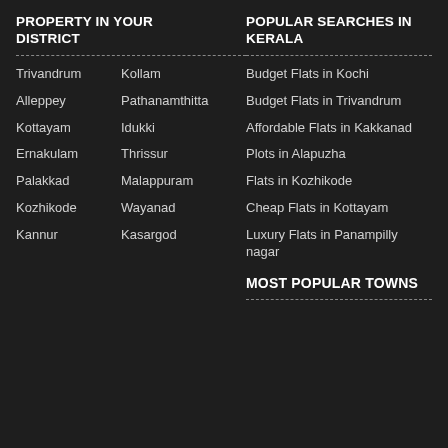PROPERTY IN YOUR DISTRICT
Trivandrum
Kollam
Alleppey
Pathanamthitta
Kottayam
Idukki
Ernakulam
Thrissur
Palakkad
Malappuram
Kozhikode
Wayanad
Kannur
Kasargod
POPULAR SEARCHES IN KERALA
Budget Flats in Kochi
Budget Flats in Trivandrum
Affordable Flats in Kakkanad
Plots in Alapuzha
Flats in Kozhikode
Cheap Flats in Kottayam
Luxury Flats in Panampilly nagar
MOST POPULAR TOWNS